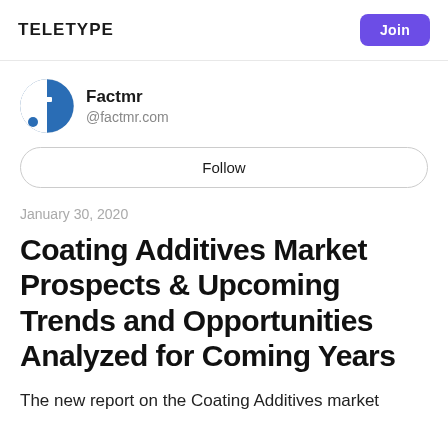TELETYPE   Join
[Figure (logo): Factmr circular logo with stylized 't' letter in blue and white with a blue dot]
Factmr
@factmr.com
Follow
January 30, 2020
Coating Additives Market Prospects & Upcoming Trends and Opportunities Analyzed for Coming Years
The new report on the Coating Additives market